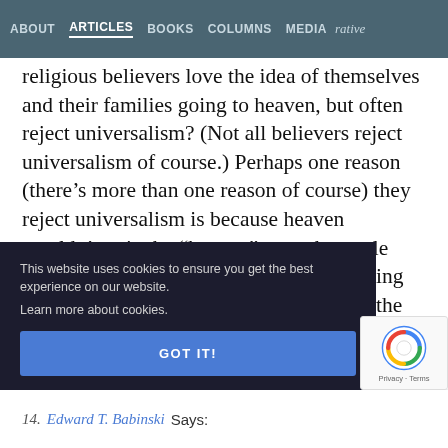ABOUT  ARTICLES  BOOKS  COLUMNS  MEDIA  rative
religious believers love the idea of themselves and their families going to heaven, but often reject universalism? (Not all believers reject universalism of course.) Perhaps one reason (there’s more than one reason of course) they reject universalism is because heaven wouldn’t quite be “heaven” to such people unless they also knew that God was denying heaven to a lot of others who lay outside the circle so to speak. For ... ve cast or ... t in our ... cted that ... eel less ... en.”
This website uses cookies to ensure you get the best experience on our website.
Learn more about cookies.
GOT IT!
14.  Edward T. Babinski Says: